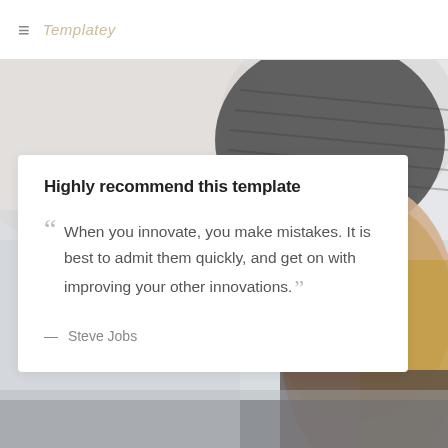≡  Templatey
[Figure (photo): Background photo of a young woman with long blonde hair wearing a dark grey knit beanie hat, smiling, with a blurred light grey background. The photo fills the lower portion of the page behind the white card overlay.]
Highly recommend this template
“ When you innovate, you make mistakes. It is best to admit them quickly, and get on with improving your other innovations. ”
— Steve Jobs